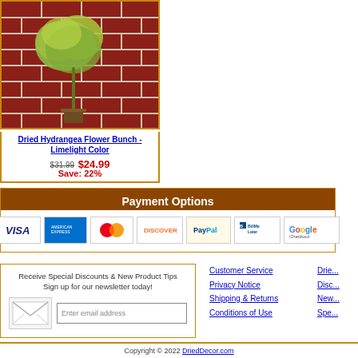[Figure (photo): Dried Hydrangea flower bunch in limelight (green-yellow) color displayed against a red brick wall background]
Dried Hydrangea Flower Bunch - Limelight Color
$31.99  $24.99
Save: 22%
Payment Options
[Figure (logo): Payment method logos: Visa, American Express, MasterCard, Discover, PayPal, Bill Me Later, Google Checkout]
Receive Special Discounts & New Product Tips
Sign up for our newsletter today!
Enter email address
Customer Service
Privacy Notice
Shipping & Returns
Conditions of Use
Drie...
Disc...
New...
Spe...
Copyright © 2022 DriedDecor.com